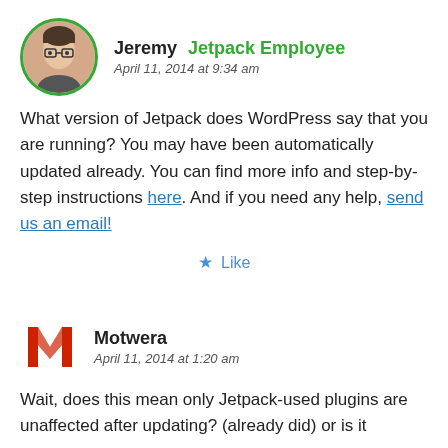[Figure (photo): Circular avatar photo of Jeremy with green border, showing a person with glasses]
Jeremy Jetpack Employee
April 11, 2014 at 9:34 am
What version of Jetpack does WordPress say that you are running? You may have been automatically updated already. You can find more info and step-by-step instructions here. And if you need any help, send us an email!
★ Like
[Figure (logo): Motwera avatar icon — red/orange stylized M letter logo]
Motwera
April 11, 2014 at 1:20 am
Wait, does this mean only Jetpack-used plugins are unaffected after updating? (already did) or is it